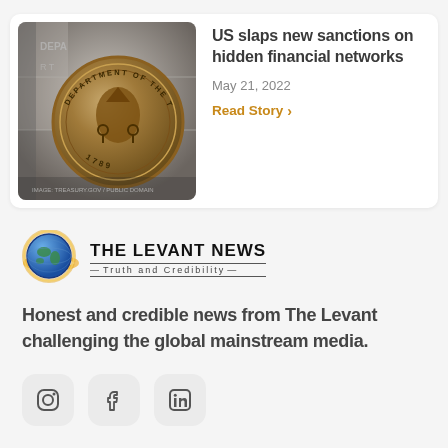[Figure (photo): US Department of the Treasury seal on a stone building wall, bronze medallion dated 1789]
US slaps new sanctions on hidden financial networks
May 21, 2022
Read Story
[Figure (logo): The Levant News logo — globe icon with golden ring and text 'THE LEVANT NEWS — Truth and Credibility —']
Honest and credible news from The Levant challenging the global mainstream media.
[Figure (other): Social media icons: Instagram, Facebook, LinkedIn]